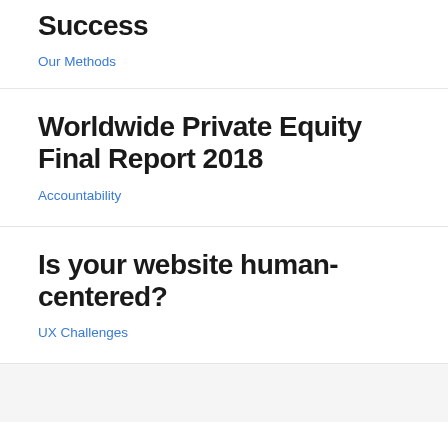Success
Our Methods
Worldwide Private Equity Final Report 2018
Accountability
Is your website human-centered?
UX Challenges